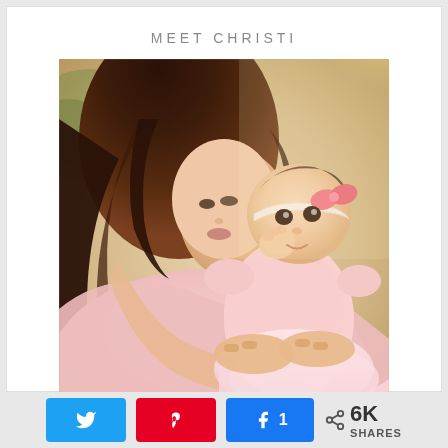MEET CHRISTI
[Figure (photo): A woman with long dark brown hair wearing a pink outfit holds and kisses a baby girl in a pink tutu dress with a pink bow headband. The baby is smiling and has her hand near her mouth. The photo is taken outdoors with warm sunlight.]
N  A  1  < 6K SHARES